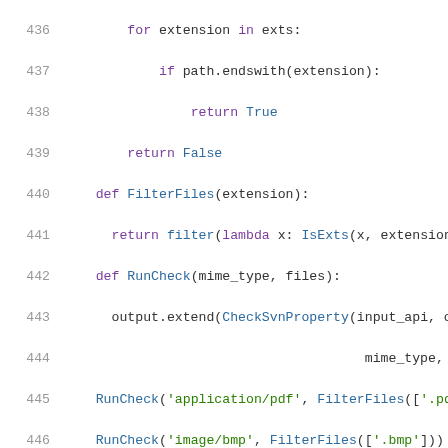[Figure (screenshot): Python source code listing showing lines 436-456, with syntax highlighting. Keywords in purple, function names in blue, strings in green, on white background with grey line numbers.]